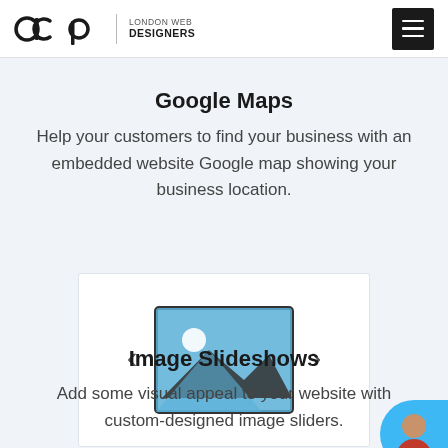dcp LONDON WEB DESIGNERS
Google Maps
Help your customers to find your business with an embedded website Google map showing your business location.
[Figure (illustration): Image slideshow icon: a framed picture icon with left and right arrow chevrons on either side, indicating a carousel/slideshow widget]
Image Slideshows
Add some visual appeal to your website with custom-designed image sliders.